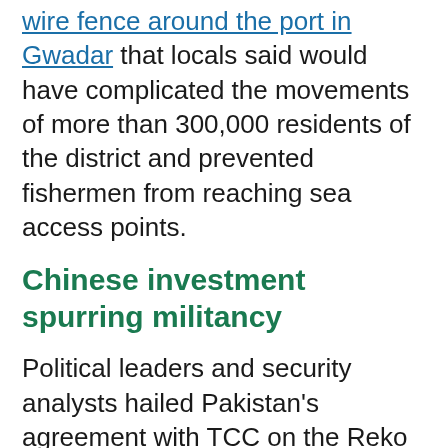wire fence around the port in Gwadar that locals said would have complicated the movements of more than 300,000 residents of the district and prevented fishermen from reaching sea access points.
Chinese investment spurring militancy
Political leaders and security analysts hailed Pakistan's agreement with TCC on the Reko Diq mining project and said that engaging with non-Chinese companies will help the government curb the insurgency that has been fuelled by Chinese investment.
"Instead of making the areas such as Chagi and ...